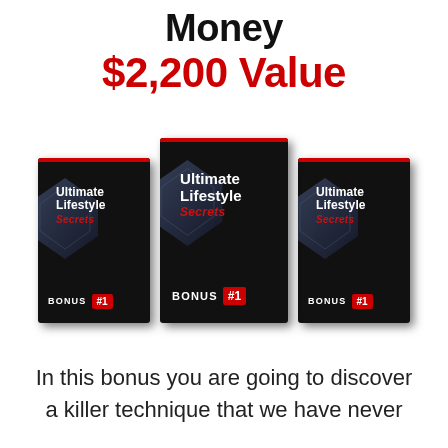Money $2,200 Value
[Figure (illustration): Three black product boxes labeled 'Ultimate Lifestyle Secrets BONUS #1' arranged side by side with the center box slightly larger and in front.]
In this bonus you are going to discover a killer technique that we have never